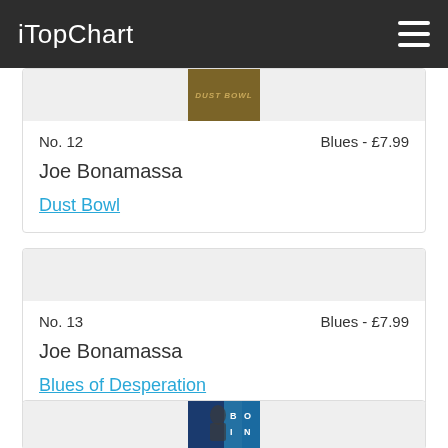iTopChart
No. 12
Blues - £7.99
Joe Bonamassa
Dust Bowl
No. 13
Blues - £7.99
Joe Bonamassa
Blues of Desperation
[Figure (photo): Partially visible album cover at bottom of page]